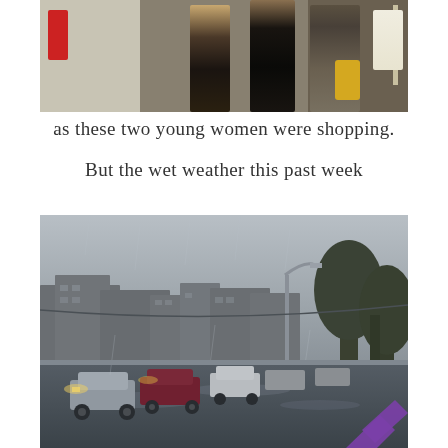[Figure (photo): Two young women shopping at an outdoor clothing store, with clothes hanging on display, a red sign visible on the left, and stone walls in background.]
as these two young women were shopping.
But the wet weather this past week
[Figure (photo): A rainy, overcast street scene showing a wet road with cars, buildings in the background, trees on the right, and a street lamp. A purple arrow/chevron overlay appears in the bottom right corner.]